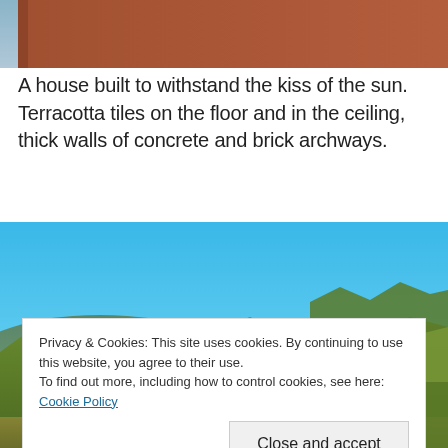[Figure (photo): Partial view of a building with warm reddish-terracotta tones at the top of the page, cropped.]
A house built to withstand the kiss of the sun. Terracotta tiles on the floor and in the ceiling, thick walls of concrete and brick archways.
[Figure (photo): Outdoor landscape photo showing a clear blue sky, green trees, and a mountain or hill in the background.]
Privacy & Cookies: This site uses cookies. By continuing to use this website, you agree to their use.
To find out more, including how to control cookies, see here: Cookie Policy
Close and accept